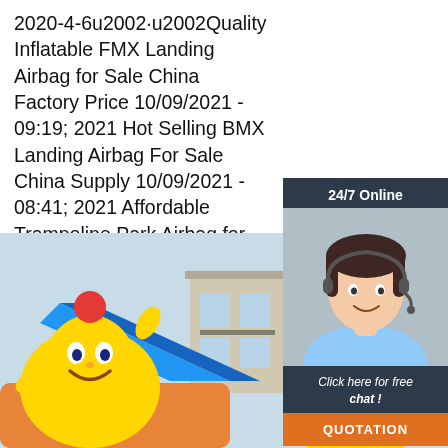2020-4-6u2002·u2002Quality Inflatable FMX Landing Airbag for Sale China Factory Price 10/09/2021 - 09:19; 2021 Hot Selling BMX Landing Airbag For Sale China Supply 10/09/2021 - 08:41; 2021 Affordable Trampoline Park Airbag for Jump Zone Supply 08/09/202…
[Figure (other): Chat support widget with '24/7 Online' header, photo of a smiling woman with headset, 'Click here for free chat!' text, and an orange 'QUOTATION' button. Dark navy background.]
Get Price
[Figure (photo): Outdoor inflatable bounce/slide attraction featuring large yellow cartoon character figures (resembling SpongeBob), a blue slide, orange base inflatable, with a building and sky in the background. A 'TOP' logo watermark is visible at bottom right.]